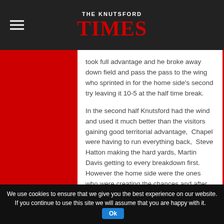THE KNUTSFORD TIMES
took full advantage and he broke away down field and pass the pass to the wing who sprinted in for the home side's second try leaving it 10-5 at the half time break.
In the second half Knutsford had the wind and used it much better than the visitors gaining good territorial advantage,  Chapel were having to run everything back,  Steve Hatton making the hard yards, Martin Davis getting to every breakdown first. However the home side were the ones who were creating the chances and after 15 minutes  Chapel's defence was finally breached in the second half and Knutsford extended their lead.
We use cookies to ensure that we give you the best experience on our website. If you continue to use this site we will assume that you are happy with it.